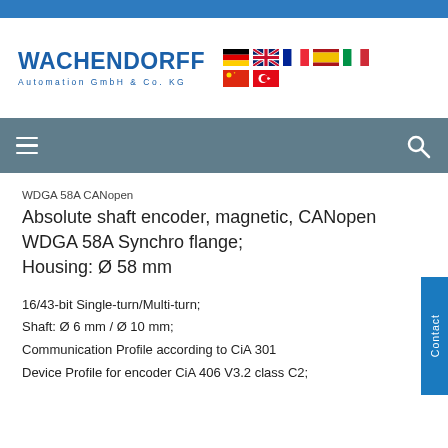[Figure (logo): Wachendorff Automation GmbH & Co. KG logo with country flags]
WDGA 58A CANopen
Absolute shaft encoder, magnetic, CANopen WDGA 58A Synchro flange;
Housing: Ø 58 mm
16/43-bit Single-turn/Multi-turn;
Shaft: Ø 6 mm / Ø 10 mm;
Communication Profile according to CiA 301
Device Profile for encoder CiA 406 V3.2 class C2;